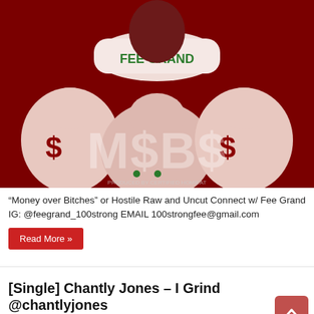[Figure (photo): Album art for Fee Grand's track 'M$B$' featuring money bags in red tones with 'FEE GRAND' text on a white label and large dollar sign letters overlaid]
“Money over Bitches” or Hostile Raw and Uncut Connect w/ Fee Grand IG: @feegrand_100strong EMAIL 100strongfee@gmail.com
Read More »
[Single] Chantly Jones – I Grind @chantlyjones
April 18, 2017  MUSIC  0